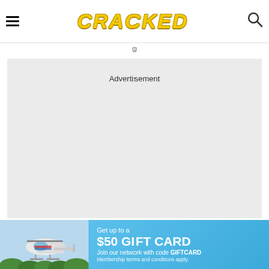CRACKED
Advertisement
[Figure (infographic): Banner advertisement showing a helicopter on the left with blue sky background, and text on the right reading 'Get up to a $50 GIFT CARD Join our network with code GIFTCARD Membership terms and conditions apply.']